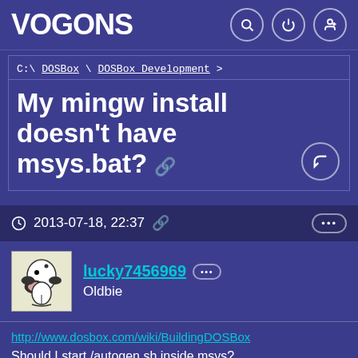VOGONS
C:\ DOSBox \ DOSBox_Development >
My mingw install doesn't have msys.bat?
2013-07-18, 22:37
lucky7456969
Oldbie
http://www.dosbox.com/wiki/BuildingDOSBox
Should I start /autogen.sh inside msys?